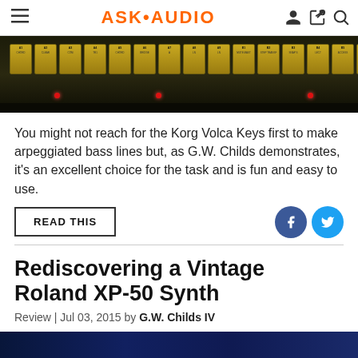ASK·AUDIO
[Figure (photo): Photo of a vintage synthesizer panel with yellow/gold buttons in a row, red indicator lights, on a dark background]
You might not reach for the Korg Volca Keys first to make arpeggiated bass lines but, as G.W. Childs demonstrates, it's an excellent choice for the task and is fun and easy to use.
READ THIS
Rediscovering a Vintage Roland XP-50 Synth
Review | Jul 03, 2015 by G.W. Childs IV
[Figure (photo): Partial photo of a vintage Roland XP-50 synthesizer, dark blue/navy color visible at bottom of page]